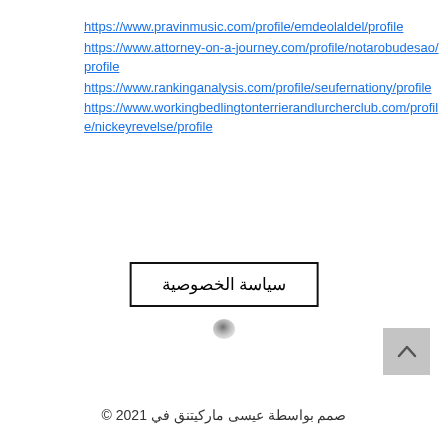https://www.pravinmusic.com/profile/emdeolaldel/profile
https://www.attorney-on-a-journey.com/profile/notarobudesao/profile
https://www.rankinganalysis.com/profile/seufernationy/profile
https://www.workingbedlingtonterrierandlurcherclub.com/profile/nickeyrevelse/profile
سياسة الخصوصية
[Figure (other): Circular button/icon element]
[Figure (other): Back to top button with upward chevron arrow]
© 2021 صمم بواسطة عيسى ماركيتنق في